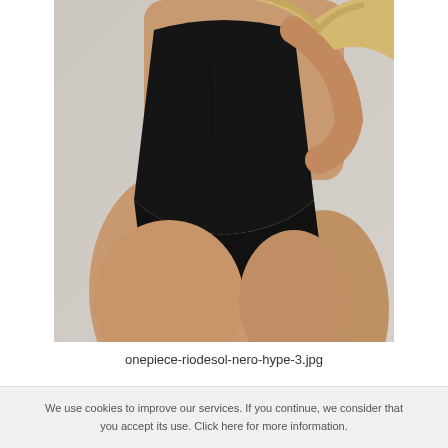[Figure (photo): Product photo of a model wearing a black one-piece swimsuit (riodesol nero hype), cropped to show torso and legs against a light grey background.]
onepiece-riodesol-nero-hype-3.jpg
We use cookies to improve our services. If you continue, we consider that you accept its use. Click here for more information.